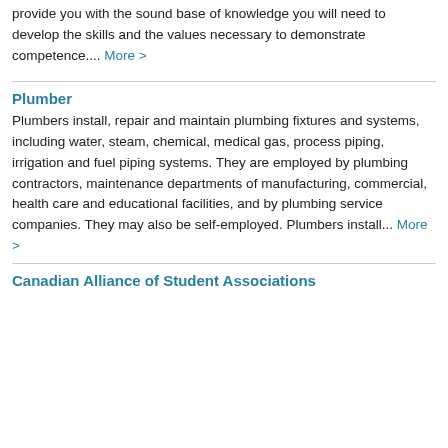provide you with the sound base of knowledge you will need to develop the skills and the values necessary to demonstrate competence.... More >
Plumber
Plumbers install, repair and maintain plumbing fixtures and systems, including water, steam, chemical, medical gas, process piping, irrigation and fuel piping systems. They are employed by plumbing contractors, maintenance departments of manufacturing, commercial, health care and educational facilities, and by plumbing service companies. They may also be self-employed. Plumbers install... More >
Canadian Alliance of Student Associations